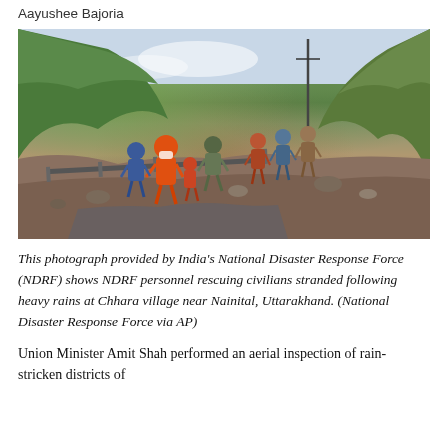Aayushee Bajoria
[Figure (photo): NDRF personnel in orange uniforms rescuing civilians stranded on a mountain road/railway track after heavy rains at Chhara village near Nainital, Uttarakhand. Green forested hills visible in background with mist. Several people walking along the rocky path.]
Centre fully with people of Uttarakhand in hour of crisis: Amit Shah
This photograph provided by India's National Disaster Response Force (NDRF) shows NDRF personnel rescuing civilians stranded following heavy rains at Chhara village near Nainital, Uttarakhand. (National Disaster Response Force via AP)
Union Minister Amit Shah performed an aerial inspection of rain-stricken districts of